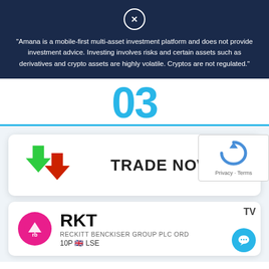"Amana is a mobile-first multi-asset investment platform and does not provide investment advice. Investing involves risks and certain assets such as derivatives and crypto assets are highly volatile. Cryptos are not regulated."
03
[Figure (infographic): Trade Now button with green up arrow and red down arrow icons]
[Figure (infographic): RKT - Reckitt Benckiser Group PLC ORD 10P listed on LSE with pink rb logo, TradingView logo, and chat bubble icon]